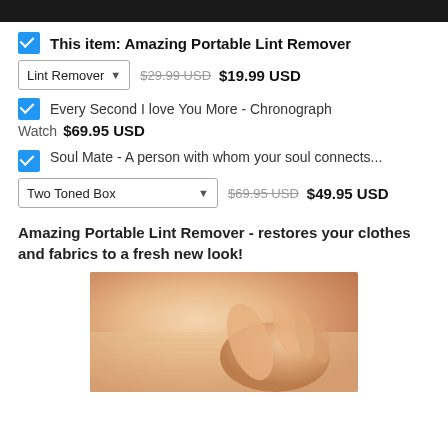This item: Amazing Portable Lint Remover
Lint Remover  $29.99 USD  $19.99 USD
Every Second I love You More - Chronograph Watch  $69.95 USD
Soul Mate - A person with whom your soul connects...
Two Toned Box  $69.95 USD  $49.95 USD
Amazing Portable Lint Remover - restores your clothes and fabrics to a fresh new look!
[Figure (photo): Close-up photo of a hand using a lint remover on fabric]